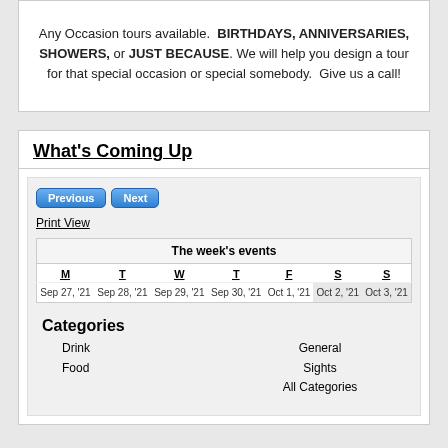Any Occasion tours available.  BIRTHDAYS, ANNIVERSARIES, SHOWERS, or JUST BECAUSE. We will help you design a tour for that special occasion or special somebody.  Give us a call!
What's Coming Up
[Figure (screenshot): Weekly calendar widget showing Previous/Next navigation buttons, Print View link, a week's events table with days M T W T F S S and dates Sep 27 '21 through Oct 3 '21, and a Categories section listing Drink, Food, General, Sights, All Categories.]